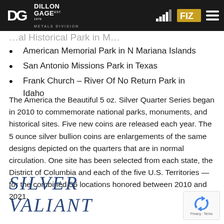Dillon Gage Metals Division
American Memorial Park in N Mariana Islands
San Antonio Missions Park in Texas
Frank Church – River Of No Return Park in Idaho
The America the Beautiful 5 oz. Silver Quarter Series began in 2010 to commemorate national parks, monuments, and historical sites. Five new coins are released each year. The 5 ounce silver bullion coins are enlargements of the same designs depicted on the quarters that are in normal circulation. One site has been selected from each state, the District of Columbia and each of the five U.S. Territories — for the combined 56 locations honored between 2010 and 2021.
SILVER VALIANT